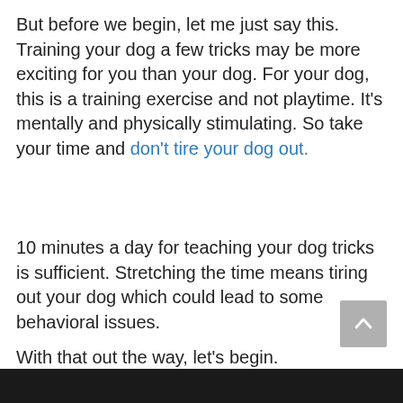But before we begin, let me just say this. Training your dog a few tricks may be more exciting for you than your dog. For your dog, this is a training exercise and not playtime. It's mentally and physically stimulating. So take your time and don't tire your dog out.
10 minutes a day for teaching your dog tricks is sufficient. Stretching the time means tiring out your dog which could lead to some behavioral issues.
With that out the way, let's begin.
[Figure (photo): Dark photo strip at bottom of page, partially visible]